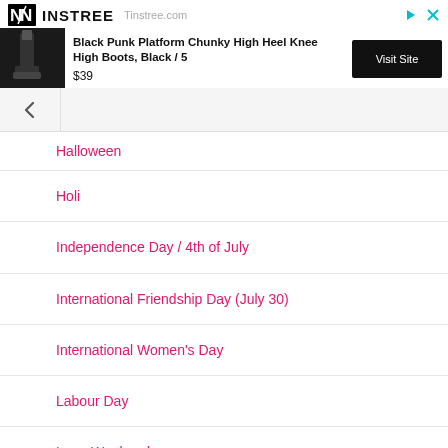[Figure (screenshot): Ninstree advertisement banner showing black boots product: 'Black Punk Platform Chunky High Heel Knee High Boots, Black / 5' priced at $39 with a 'Visit Site' button]
Halloween
Holi
Independence Day / 4th of July
International Friendship Day (July 30)
International Women's Day
Labour Day
Long Weekend